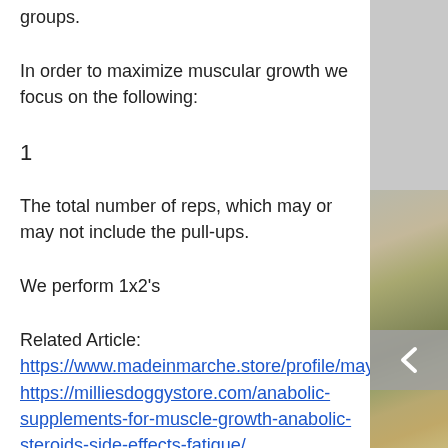groups.
In order to maximize muscular growth we focus on the following:
1
The total number of reps, which may or may not include the pull-ups.
We perform 1x2's
Related Article:
https://www.madeinmarche.store/profile/maymecutrona2002/profile
https://milliesdoggystore.com/anabolic-supplements-for-muscle-growth-anabolic-steroids-side-effects-fatigue/
https://www.economiain10secondi.com/activity/p/105051/
https://www.abbipulling.com/profile/ginomaka...